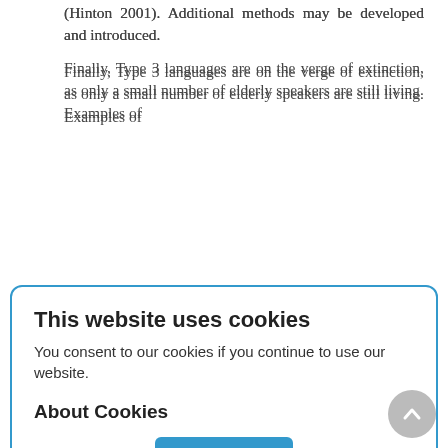(Hinton 2001). Additional methods may be developed and introduced.
Finally, Type 3 languages are on the verge of extinction, as only a small number of elderly speakers are still living. Examples of languages in this group are Votic or Orok.
This situation is, of course, the most problematic as regards preservation prospects. For Type 3 languages, the most urgent efforts must be directed towards linguistic documentation while it is still possible (see, e.g., Woodbury 2003). I should note that attempts at language revitalization are sometimes even made for completely extinct languages, for example, for the Cornish language in England (Korolev 2000). The Cornish language became extinct in the 18th century but was revived by activists and has recently
[Figure (screenshot): Cookie consent modal dialog with title 'This website uses cookies', body text 'You consent to our cookies if you continue to use our website.', subtitle 'About Cookies', and an OK button in blue.]